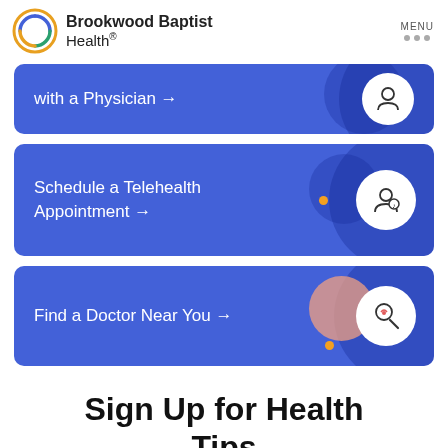Brookwood Baptist Health.
with a Physician →
Schedule a Telehealth Appointment →
Find a Doctor Near You →
Sign Up for Health Tips